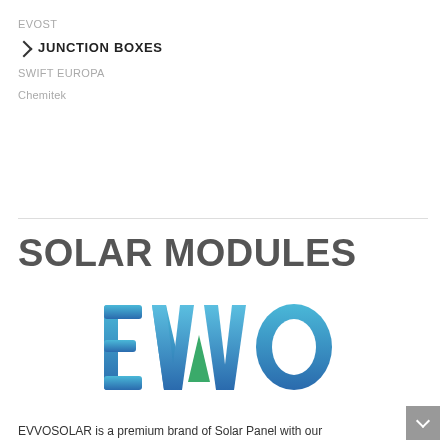EVOST
◁ JUNCTION BOXES
SWIFT EUROPA
Chemitek
SOLAR MODULES
[Figure (logo): EVVO logo with stylized blue gradient letters E, V, V, O and a green triangle accent in the center]
EVVOSOLAR is a premium brand of Solar Panel with our